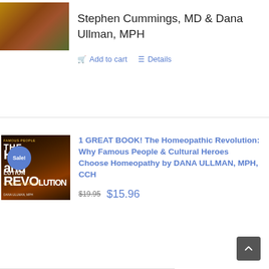Stephen Cummings, MD & Dana Ullman, MPH
Add to cart   Details
[Figure (photo): Book thumbnail image for top product listing]
1 GREAT BOOK! The Homeopathic Revolution: Why Famous People & Cultural Heroes Choose Homeopathy by DANA ULLMAN, MPH, CCH
$19.95  $15.96